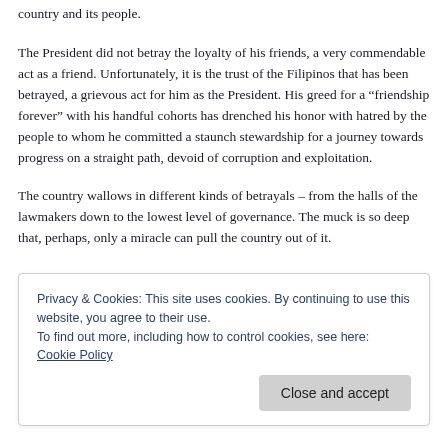country and its people.
The President did not betray the loyalty of his friends, a very commendable act as a friend. Unfortunately, it is the trust of the Filipinos that has been betrayed, a grievous act for him as the President. His greed for a “friendship forever” with his handful cohorts has drenched his honor with hatred by the people to whom he committed a staunch stewardship for a journey towards progress on a straight path, devoid of corruption and exploitation.
The country wallows in different kinds of betrayals – from the halls of the lawmakers down to the lowest level of governance. The muck is so deep that, perhaps, only a miracle can pull the country out of it.
Privacy & Cookies: This site uses cookies. By continuing to use this website, you agree to their use.
To find out more, including how to control cookies, see here: Cookie Policy